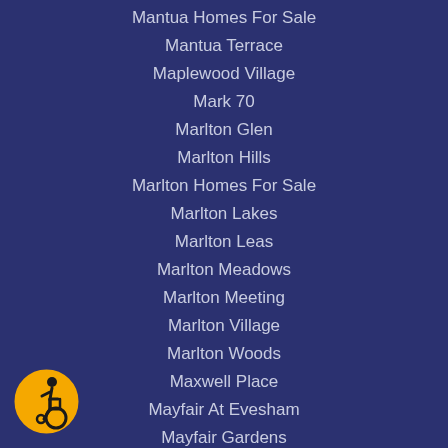Mantua Homes For Sale
Mantua Terrace
Maplewood Village
Mark 70
Marlton Glen
Marlton Hills
Marlton Homes For Sale
Marlton Lakes
Marlton Leas
Marlton Meadows
Marlton Meeting
Marlton Village
Marlton Woods
Maxwell Place
Mayfair At Evesham
Mayfair Gardens
Mckendimen Estates
[Figure (illustration): Accessibility icon: yellow circle with wheelchair user symbol in black]